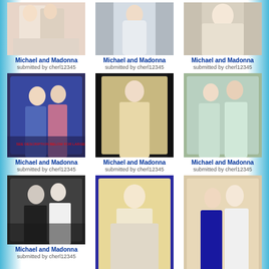[Figure (photo): Photo of Michael and Madonna, partial top crop, light colored outfits]
Michael and Madonna submitted by cherl12345
[Figure (photo): Photo of Michael and Madonna, feathered outfit]
Michael and Madonna submitted by cherl12345
[Figure (photo): Photo of Michael and Madonna, glamorous outfits]
Michael and Madonna submitted by cherl12345
[Figure (photo): Photo of Michael and Madonna, colorful casual outfits]
Michael and Madonna submitted by cherl12345
[Figure (photo): Photo of Michael and Madonna, white outfits standing]
Michael and Madonna submitted by cherl12345
[Figure (photo): Photo of Michael and Madonna, light blue/white outfits]
Michael and Madonna submitted by cherl12345
[Figure (photo): Black and white photo of Michael and Madonna]
Michael and Madonna submitted by cherl12345
[Figure (photo): Photo of Michael and Madonna, close up glamour shot]
Michael and Madonna submitted by cherl12345
[Figure (photo): Photo of Michael and Madonna, both in white]
Michael and Madonna submitted by cherl12345
[Figure (photo): Photo partial bottom, group]
[Figure (photo): Photo partial bottom, Michael and Madonna]
[Figure (photo): Photo partial bottom, group event]